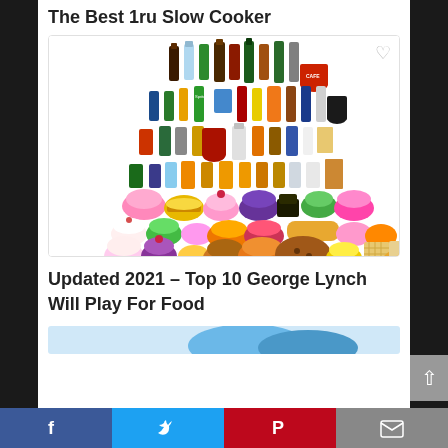The Best 1ru Slow Cooker
[Figure (photo): Collection of miniature toy food and drink items including bottles, cakes, pastries, and desserts arranged in rows on a white background. A heart/wishlist icon appears in the top right corner of the image.]
Updated 2021 – Top 10 George Lynch Will Play For Food
[Figure (photo): Partially visible image at bottom of page, cut off]
Facebook | Twitter | Pinterest | Email (social sharing bar)